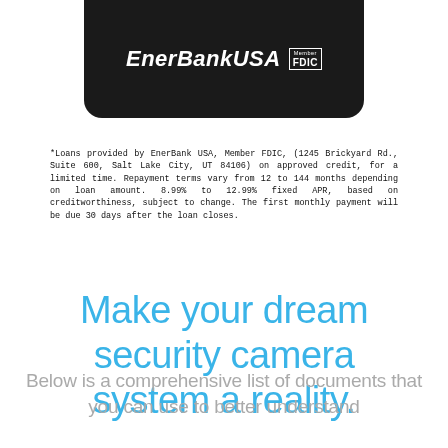[Figure (logo): EnerBank USA Member FDIC logo on dark rounded rectangle banner]
*Loans provided by EnerBank USA, Member FDIC, (1245 Brickyard Rd., Suite 600, Salt Lake City, UT 84106) on approved credit, for a limited time. Repayment terms vary from 12 to 144 months depending on loan amount. 8.99% to 12.99% fixed APR, based on creditworthiness, subject to change. The first monthly payment will be due 30 days after the loan closes.
Make your dream security camera system a reality.
Below is a comprehensive list of documents that you can use to better understand